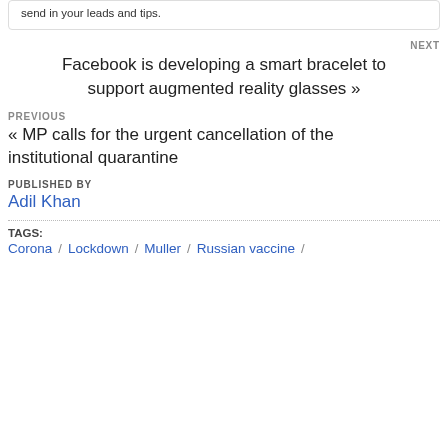send in your leads and tips.
NEXT
Facebook is developing a smart bracelet to support augmented reality glasses »
PREVIOUS
« MP calls for the urgent cancellation of the institutional quarantine
PUBLISHED BY
Adil Khan
TAGS:
Corona / Lockdown / Muller / Russian vaccine /